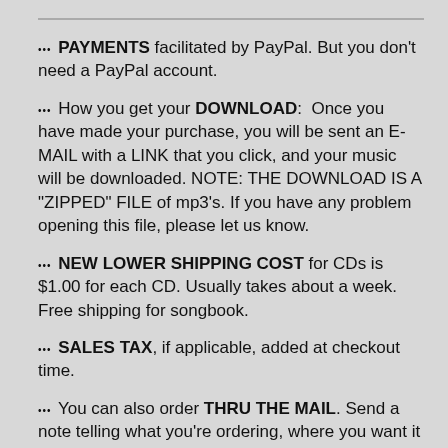••• PAYMENTS facilitated by PayPal. But you don't need a PayPal account.
••• How you get your DOWNLOAD:  Once you have made your purchase, you will be sent an E-MAIL with a LINK that you click, and your music will be downloaded. NOTE: THE DOWNLOAD IS A "ZIPPED" FILE of mp3's. If you have any problem opening this file, please let us know.
••• NEW LOWER SHIPPING COST for CDs is $1.00 for each CD. Usually takes about a week. Free shipping for songbook.
••• SALES TAX, if applicable, added at checkout time.
••• You can also order THRU THE MAIL. Send a note telling what you're ordering, where you want it sent, and a check for the item (plus $1 per CD and 5% tax in WI) to Berryman, Box 3400, Madison WI 53704.